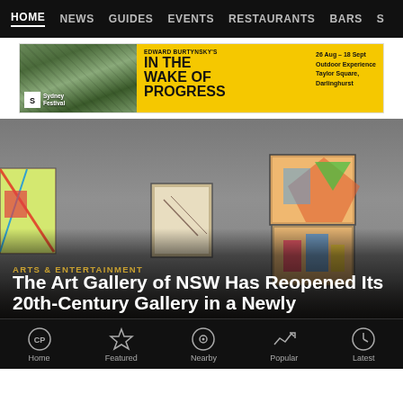HOME  NEWS  GUIDES  EVENTS  RESTAURANTS  BARS  S
[Figure (infographic): Sydney Festival advertisement banner for Edward Burtynsky's 'In the Wake of Progress'. Yellow background with photo of landscape on left. Text: EDWARD BURTYNSKY'S IN THE WAKE OF PROGRESS. 26 Aug - 18 Sept, Outdoor Experience, Taylor Square, Darlinghurst.]
[Figure (photo): Interior of an art gallery showing a gray wall with multiple framed artworks hung at various heights. Paintings include colorful abstract and figurative works. A dark doorway is visible. The gallery has wooden flooring.]
ARTS & ENTERTAINMENT
The Art Gallery of NSW Has Reopened Its 20th-Century Gallery in a Newly
Home  Featured  Nearby  Popular  Latest